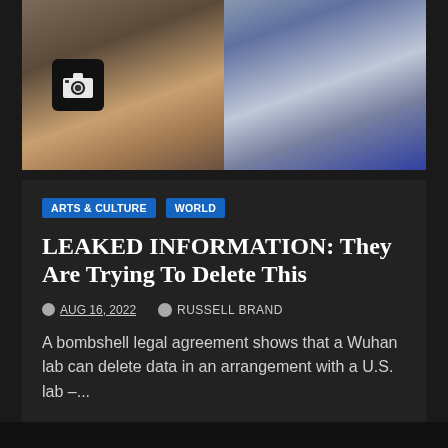[Figure (photo): Two side-by-side photos: left shows a man with curly dark hair and beard wearing a chain necklace (with a camera/photo icon overlay), right shows an older man in a suit speaking at a microphone.]
ARTS & CULTURE
WORLD
LEAKED INFORMATION: They Are Trying To Delete This
AUG 16, 2022   RUSSELL BRAND
A bombshell legal agreement shows that a Wuhan lab can delete data in an arrangement with a U.S. lab –...